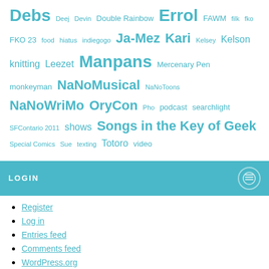Debs Deej Devin Double Rainbow Errol FAWM filk fko FKO 23 food hiatus indiegogo Ja-Mez Kari Kelsey Kelson knitting Leezet Manpans Mercenary Pen monkeyman NaNoMusical NaNoToons NaNoWriMo OryCon Pho podcast searchlight SFContario 2011 shows Songs in the Key of Geek Special Comics Sue texting Totoro video
LOGIN
Register
Log in
Entries feed
Comments feed
WordPress.org
[Figure (logo): Skookum logo: brown hexagonal badge with a cartoon monkey face, text 'ESTD 2012' and 'SKOOKUM' at the bottom]